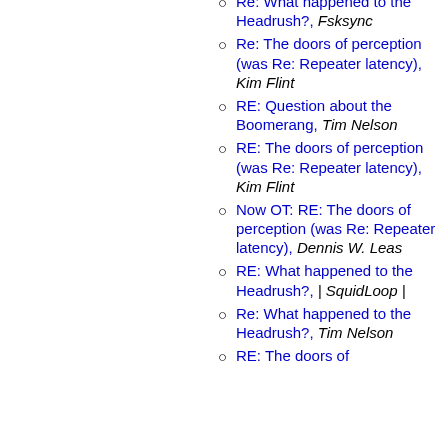Re: What happened to the Headrush?, Fsksync
Re: The doors of perception (was Re: Repeater latency), Kim Flint
RE: Question about the Boomerang, Tim Nelson
RE: The doors of perception (was Re: Repeater latency), Kim Flint
Now OT: RE: The doors of perception (was Re: Repeater latency), Dennis W. Leas
RE: What happened to the Headrush?, | SquidLoop |
Re: What happened to the Headrush?, Tim Nelson
RE: The doors of